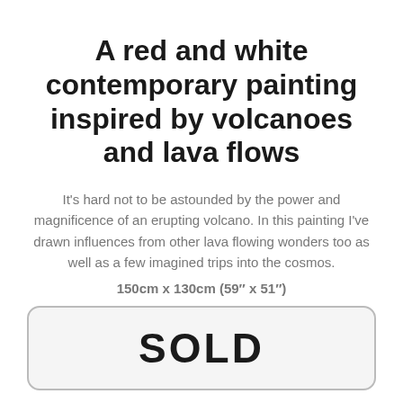A red and white contemporary painting inspired by volcanoes and lava flows
It's hard not to be astounded by the power and magnificence of an erupting volcano. In this painting I've drawn influences from other lava flowing wonders too as well as a few imagined trips into the cosmos.
150cm x 130cm (59" x 51")
SOLD